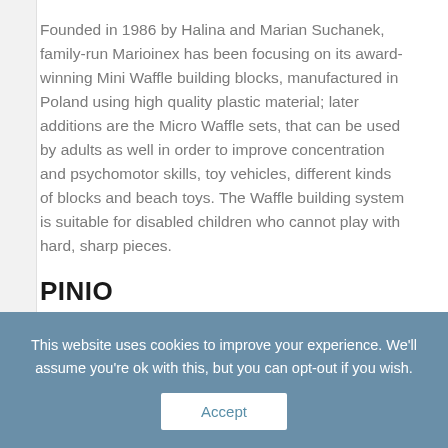Founded in 1986 by Halina and Marian Suchanek, family-run Marioinex has been focusing on its award-winning Mini Waffle building blocks, manufactured in Poland using high quality plastic material; later additions are the Micro Waffle sets, that can be used by adults as well in order to improve concentration and psychomotor skills, toy vehicles, different kinds of blocks and beach toys. The Waffle building system is suitable for disabled children who cannot play with hard, sharp pieces.
PINIO
Pinio has been manufacturing baby room furniture since 2005, launching their own brand in 2010. Their most successful line, Marsylia, still in production, was
This website uses cookies to improve your experience. We'll assume you're ok with this, but you can opt-out if you wish.